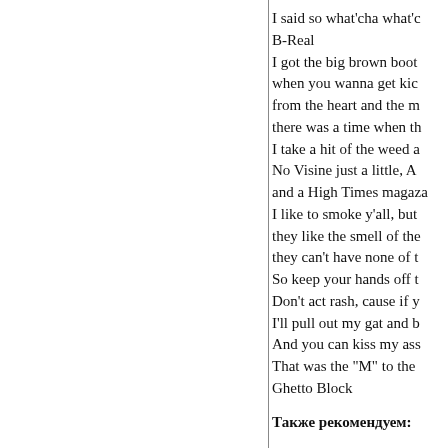I said so what'cha what'c
B-Real
I got the big brown boot
when you wanna get kic
from the heart and the m
there was a time when th
I take a hit of the weed a
No Visine just a little, A
and a High Times magaza
I like to smoke y'all, but
they like the smell of the
they can't have none of t
So keep your hands off t
Don't act rash, cause if y
I'll pull out my gat and b
And you can kiss my ass
That was the "M" to the
Ghetto Block
Также рекомендуем: